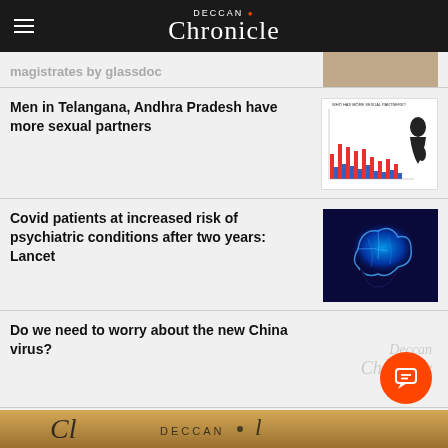Deccan Chronicle
magistrates by glassdoc
Men in Telangana, Andhra Pradesh have more sexual partners
Covid patients at increased risk of psychiatric conditions after two years: Lancet
Do we need to worry about the new China virus?
Swag and the South